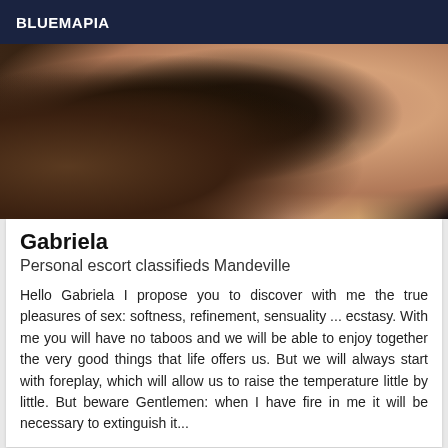BLUEMAPIA
[Figure (photo): Photo of Gabriela, escort listing image showing a woman in lingerie]
Gabriela
Personal escort classifieds Mandeville
Hello Gabriela I propose you to discover with me the true pleasures of sex: softness, refinement, sensuality ... ecstasy. With me you will have no taboos and we will be able to enjoy together the very good things that life offers us. But we will always start with foreplay, which will allow us to raise the temperature little by little. But beware Gentlemen: when I have fire in me it will be necessary to extinguish it...
[Figure (photo): Partial photo at bottom of page, another escort listing image]